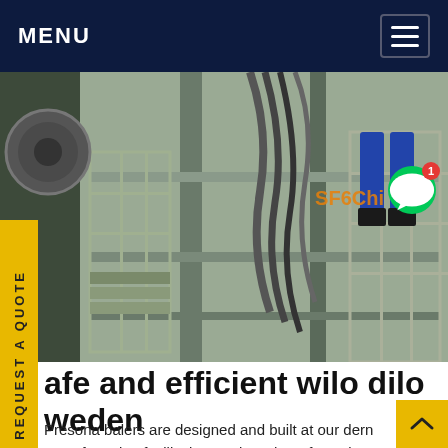MENU
[Figure (photo): Industrial equipment photo showing metal scaffolding, hoses, cables, and a worker's legs in blue jeans climbing metal stairs at an industrial facility. SF6Chi watermark visible in bottom-right corner of photo.]
afe and efficient wilo dilo weden
Presona balers are designed and built at our dern manufacturing facility in Sweden where focus is on efficiency, quality, safety and sustainability. Our balers are reliable, consistent and efficient. They are also designed to cope with